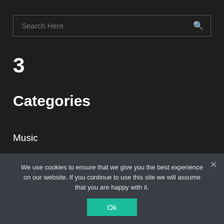[Figure (screenshot): Search input field with placeholder 'Search Here' and a magnifying glass icon on the right, dark background with grey border]
3
Categories
Music
News
Festivals
We use cookies to ensure that we give you the best experience on our website. If you continue to use this site we will assume that you are happy with it.
Ok